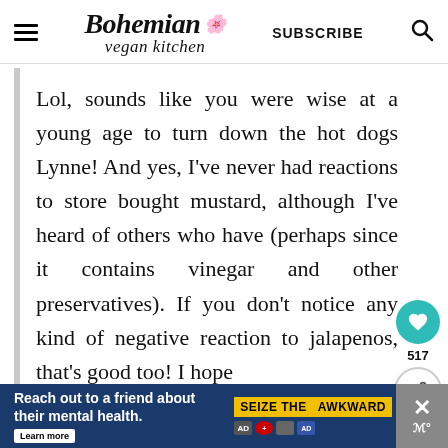[Figure (logo): Bohemian Vegan Kitchen logo with hamburger menu, subscribe text, and search icon in header navigation bar]
Lol, sounds like you were wise at a young age to turn down the hot dogs Lynne! And yes, I've never had reactions to store bought mustard, although I've heard of others who have (perhaps since it contains vinegar and other preservatives). If you don't notice any kind of negative reaction to jalapenos, that's good too! I hope
[Figure (infographic): Advertisement banner: 'Reach out to a friend about their mental health. Learn more' with SEIZE THE AWKWARD yellow badge and logos]